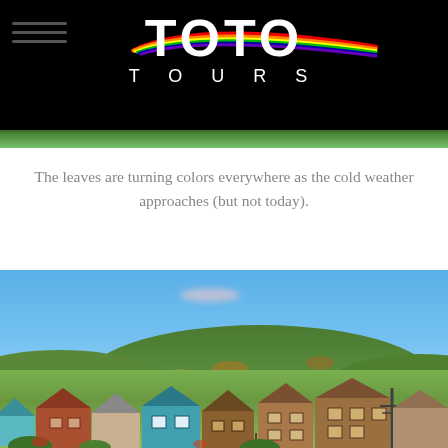[Figure (logo): TOTO TOURS logo with rainbow arc on black background with green strip at bottom]
The leaves are turning colors everywhere as the cold weather approaches (but not today).
[Figure (photo): Dacha village with colorful wooden houses in foreground, green forested hill in background, clear blue sky]